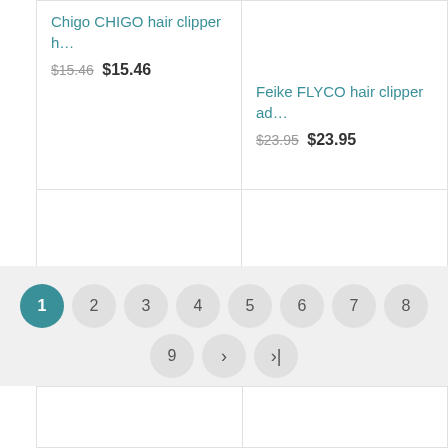Chigo CHIGO hair clipper h…
$15.46 $15.46
Feike FLYCO hair clipper ad…
$23.95 $23.95
Panasonic Men's Electric Hai…
$72.34 $72.34
Chigo CHIGO electric hair c…
$12.80 $12.80
1 2 3 4 5 6 7 8 9 > >|